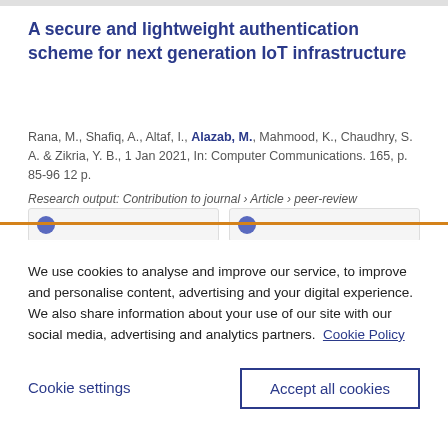A secure and lightweight authentication scheme for next generation IoT infrastructure
Rana, M., Shafiq, A., Altaf, I., Alazab, M., Mahmood, K., Chaudhry, S. A. & Zikria, Y. B., 1 Jan 2021, In: Computer Communications. 165, p. 85-96 12 p.
Research output: Contribution to journal › Article › peer-review
We use cookies to analyse and improve our service, to improve and personalise content, advertising and your digital experience. We also share information about your use of our site with our social media, advertising and analytics partners.  Cookie Policy
Cookie settings
Accept all cookies